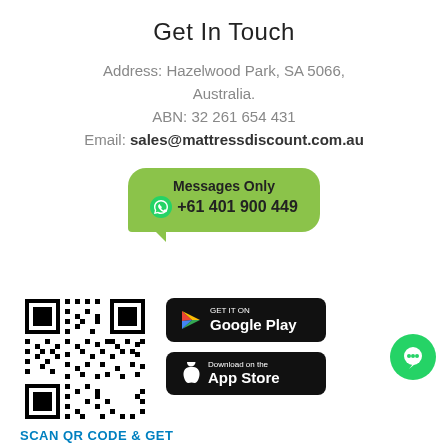Get In Touch
Address: Hazelwood Park, SA 5066, Australia.
ABN: 32 261 654 431
Email: sales@mattressdiscount.com.au
[Figure (infographic): WhatsApp message bubble in green with 'Messages Only' and '+61 401 900 449']
[Figure (other): QR code for app download]
[Figure (logo): Google Play store download button]
[Figure (logo): Apple App Store download button]
[Figure (other): Green chat bubble icon]
SCAN QR CODE & GET